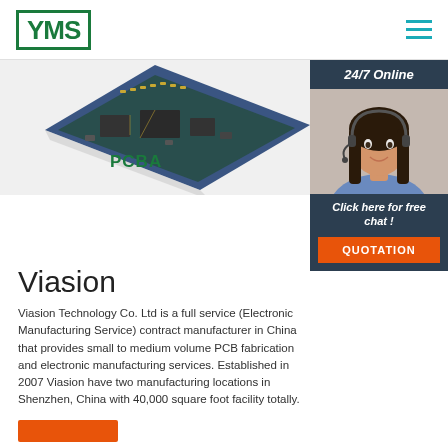[Figure (logo): YMS logo in green with border]
[Figure (screenshot): Navigation hamburger menu icon in teal]
[Figure (photo): Blue PCB circuit board image in center-top area]
PCBA
[Figure (photo): 24/7 Online customer service agent photo with headset, dark background widget with 'Click here for free chat!' text and QUOTATION button]
Viasion
Viasion Technology Co. Ltd is a full service (Electronic Manufacturing Service) contract manufacturer in China that provides small to medium volume PCB fabrication and electronic manufacturing services. Established in 2007 Viasion have two manufacturing locations in Shenzhen, China with 40,000 square foot facility totally.
[Figure (other): Orange button at bottom left]